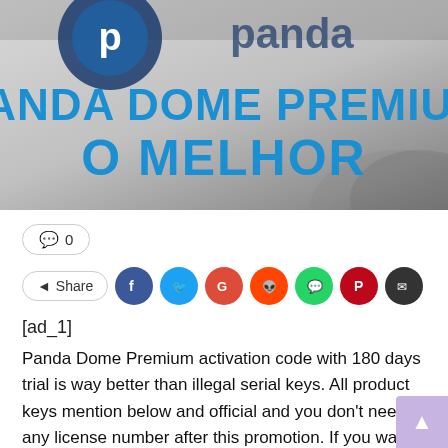[Figure (logo): Panda Dome Premium promotional banner with blue text reading 'PANDA DOME PREMIUM O MELHOR' on a grey gradient background with the Panda Security logo]
💬 0
< Share
[ad_1]
Panda Dome Premium activation code with 180 days trial is way better than illegal serial keys. All product keys mention below and official and you don't need any license number after this promotion. If you want full